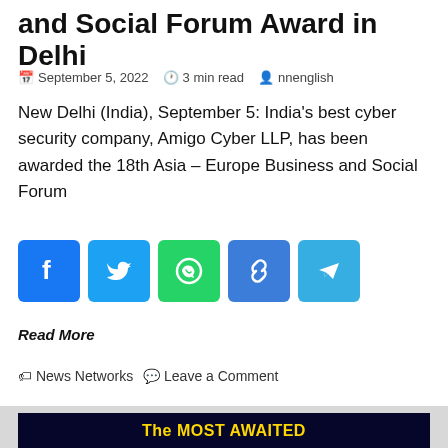and Social Forum Award in Delhi
September 5, 2022   3 min read   nnenglish
New Delhi (India), September 5: India's best cyber security company, Amigo Cyber LLP, has been awarded the 18th Asia – Europe Business and Social Forum
[Figure (infographic): Social media share buttons: Facebook, Twitter, WhatsApp, Copy Link, Telegram]
Read More
News Networks   Leave a Comment
[Figure (infographic): Advertisement banner with dark blue background and yellow text reading 'The MOST AWAITED']